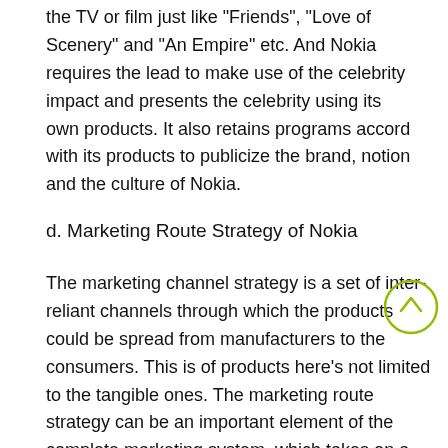the TV or film just like "Friends", "Love of Scenery" and "An Empire" etc. And Nokia requires the lead to make use of the celebrity impact and presents the celebrity using its own products. It also retains programs accord with its products to publicize the brand, notion and the culture of Nokia.
d. Marketing Route Strategy of Nokia
The marketing channel strategy is a set of inter-reliant channels through which the products could be spread from manufacturers to the consumers. This is of products here's not limited to the tangible ones. The marketing route strategy can be an important element of the complete marketing system, which takes on a significant part in minimizing the price and enhancing the competitive power of the enterprise. Combined with the